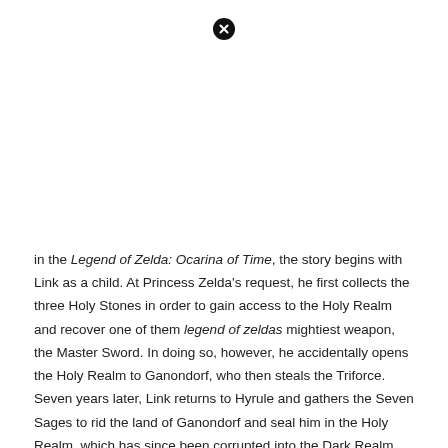[Figure (other): Black circle with white X icon, appearing at the top center of the page]
in the Legend of Zelda: Ocarina of Time, the story begins with Link as a child. At Princess Zelda's request, he first collects the three Holy Stones in order to gain access to the Holy Realm and recover one of them legend of zeldas mightiest weapon, the Master Sword. In doing so, however, he accidentally opens the Holy Realm to Ganondorf, who then steals the Triforce. Seven years later, Link returns to Hyrule and gathers the Seven Sages to rid the land of Ganondorf and seal him in the Holy Realm, which has since been corrupted into the Dark Realm. Once this is done, Zelda uses the Ocarina of Time to send Link back to [icon] childhood.